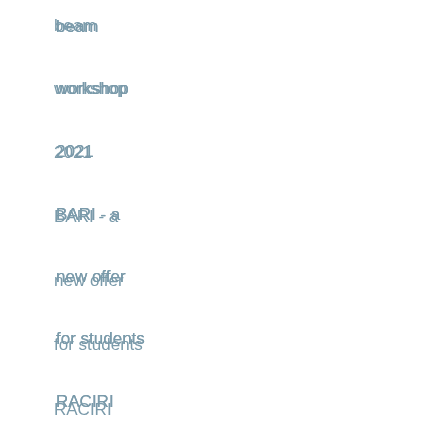beam
workshop
2021
BARI - a
new offer
for students
RACIRI
Summer
School
2020:
Advanced
Materials
Design at
X-ray and
Neutron
Facilities
Celebrating